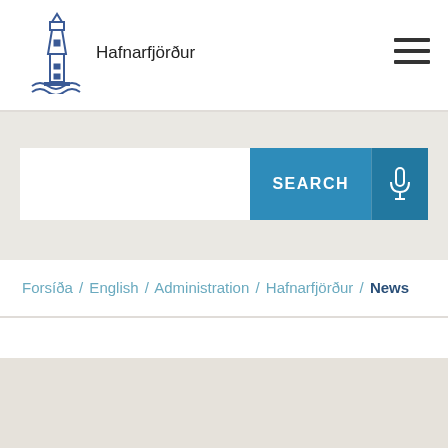Hafnarfjörður
[Figure (logo): Hafnarfjörður lighthouse logo with waves at base]
[Figure (screenshot): Search bar with SEARCH button and microphone icon]
Forsíða / English / Administration / Hafnarfjörður / News